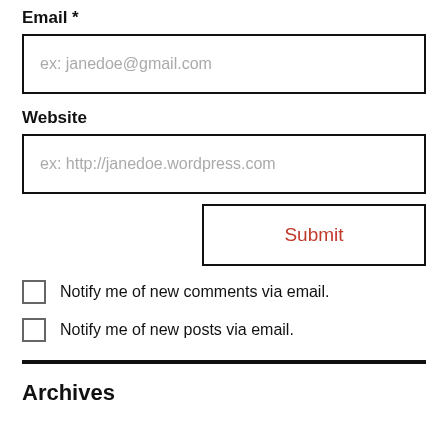Email *
[Figure (other): Email input field with placeholder text 'ex: janedoe@gmail.com']
Website
[Figure (other): Website input field with placeholder text 'ex: http://janedoe.wordpress.com']
[Figure (other): Submit button with red text 'Submit']
Notify me of new comments via email.
Notify me of new posts via email.
Archives